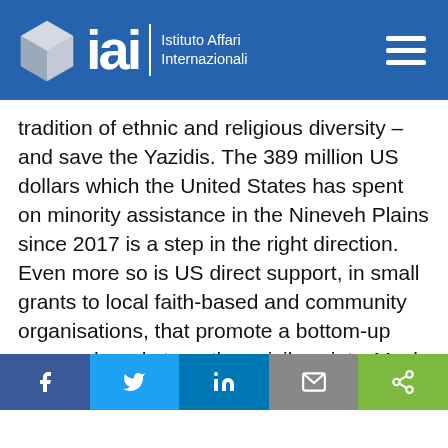IAI – Istituto Affari Internazionali
tradition of ethnic and religious diversity – and save the Yazidis. The 389 million US dollars which the United States has spent on minority assistance in the Nineveh Plains since 2017 is a step in the right direction. Even more so is US direct support, in small grants to local faith-based and community organisations, that promote a bottom-up approach and strengthen civil society. Much more is needed, however, and political pressure on the Iraqi government to follow through on its commitment to protect minority rights must be sustained.
Pope Francis' visit to Iraq can do this from the height of his moral authority. The Pope has tirelessly called on world leaders to protect minorities in Iraq and in
[Figure (other): Social media share buttons: Facebook, Twitter, LinkedIn, Email, Share]